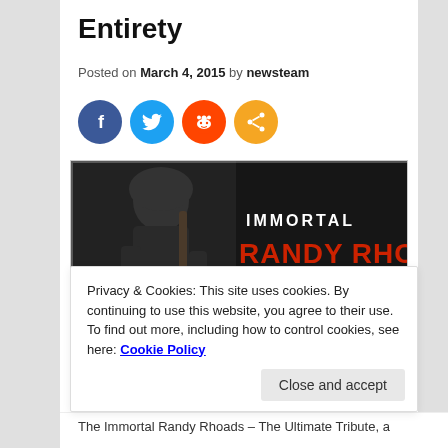Entirety
Posted on March 4, 2015 by newsteam
[Figure (infographic): Four social media share icons: Facebook (blue circle with f), Twitter (light blue circle with bird), Reddit (orange circle with Reddit alien), Share (orange circle with share icon)]
[Figure (photo): Immortal Randy Rhoads - The Ultimate Tribute album artwork. Black and white image of Randy Rhoads with guitar. Red text reads RANDY RHOADS. White text reads IMMORTAL and THE ULTIMATE TRIBUTE. Handwritten style list: GUS G, BRAD GILLIS, DOUG ALDRICH, GEORGE LYNCH]
Privacy & Cookies: This site uses cookies. By continuing to use this website, you agree to their use.
To find out more, including how to control cookies, see here: Cookie Policy
Close and accept
The Immortal Randy Rhoads – The Ultimate Tribute, a